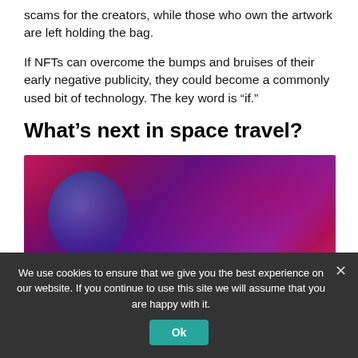scams for the creators, while those who own the artwork are left holding the bag.
If NFTs can overcome the bumps and bruises of their early negative publicity, they could become a commonly used bit of technology. The key word is “if.”
What’s next in space travel?
[Figure (photo): Abstract space-themed image with swirling pink and purple colors and a dark blue spherical object, possibly representing a planet or wormhole.]
We use cookies to ensure that we give you the best experience on our website. If you continue to use this site we will assume that you are happy with it.